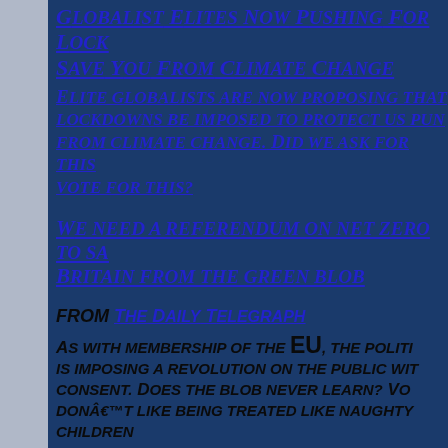Globalist Elites Now Pushing For Lock Save You From Climate Change
Elite globalists are now proposing that lockdowns be imposed to protect us pun from climate change. Did we ask for this vote for this?
We need a referendum on net zero to sa Britain from the green blob
FROM The Daily Telegraph
As with membership of the EU, the politi is imposing a revolution on the public wit consent. Does the blob never learn? Vo donâ€™t like being treated like naughty children